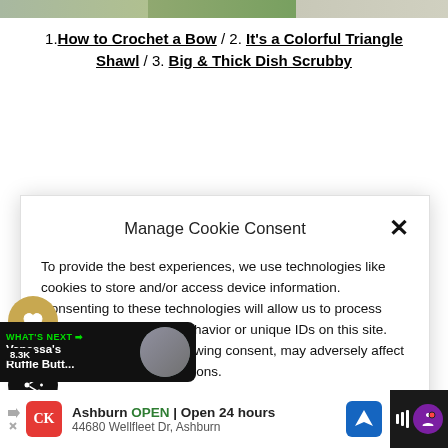[Figure (screenshot): Top strip showing partial images of crochet/craft thumbnails]
1. How to Crochet a Bow / 2. It's a Colorful Triangle Shawl / 3. Big & Thick Dish Scrubby
Manage Cookie Consent
To provide the best experiences, we use technologies like cookies to store and/or access device information. Consenting to these technologies will allow us to process data such as browsing behavior or unique IDs on this site. Not consenting or withdrawing consent, may adversely affect certain features and functions.
Accept
Deny
View preferences
[Figure (screenshot): What's Next promo showing Vanessa's Ruffle Butt... with thumbnail image]
[Figure (screenshot): Bottom advertisement bar for Ashburn location CK brand OPEN 24 hours 44680 Wellfleet Dr, Ashburn]